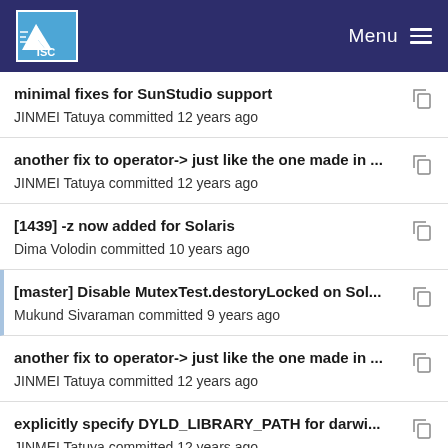ISC Menu
minimal fixes for SunStudio support
JINMEI Tatuya committed 12 years ago
another fix to operator-> just like the one made in ...
JINMEI Tatuya committed 12 years ago
[1439] -z now added for Solaris
Dima Volodin committed 10 years ago
[master] Disable MutexTest.destoryLocked on Sol...
Mukund Sivaraman committed 9 years ago
another fix to operator-> just like the one made in ...
JINMEI Tatuya committed 12 years ago
explicitly specify DYLD_LIBRARY_PATH for darwi...
JINMEI Tatuya committed 12 years ago